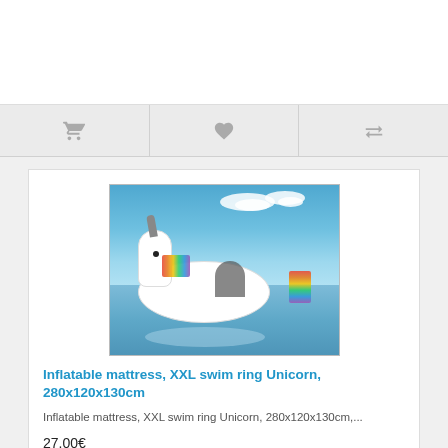[Figure (screenshot): Top white bar area, part of e-commerce page layout]
[Figure (screenshot): Icon bar with cart, heart/wishlist, and compare icons on gray background]
[Figure (photo): Product photo: inflatable unicorn pool float with a person lounging on it, blue sky and water background]
Inflatable mattress, XXL swim ring Unicorn, 280x120x130cm
Inflatable mattress, XXL swim ring Unicorn, 280x120x130cm,...
27.00€
Ex Tax: 22.31€